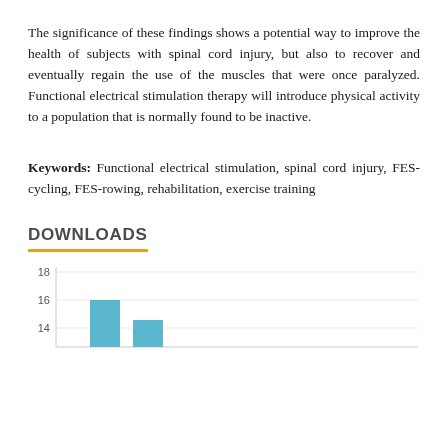The significance of these findings shows a potential way to improve the health of subjects with spinal cord injury, but also to recover and eventually regain the use of the muscles that were once paralyzed. Functional electrical stimulation therapy will introduce physical activity to a population that is normally found to be inactive.
Keywords: Functional electrical stimulation, spinal cord injury, FES-cycling, FES-rowing, rehabilitation, exercise training
DOWNLOADS
[Figure (bar-chart): Bar chart showing downloads over time, partially visible. Y-axis shows values 16 and 18 visible, with bars visible at approximately 16 and partially cut off.]